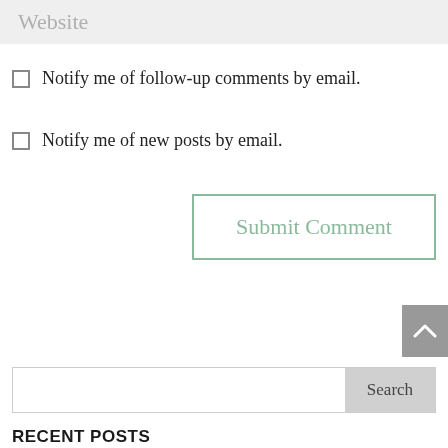Website
Notify me of follow-up comments by email.
Notify me of new posts by email.
Submit Comment
Search
RECENT POSTS
FAQ – What Are Your Recommendations?